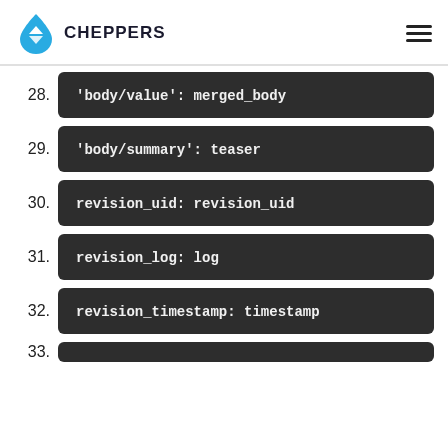CHEPPERS
'body/value': merged_body
'body/summary': teaser
revision_uid: revision_uid
revision_log: log
revision_timestamp: timestamp